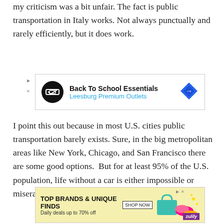my criticism was a bit unfair. The fact is public transportation in Italy works. Not always punctually and rarely efficiently, but it does work.
[Figure (other): Advertisement banner for Back To School Essentials at Leesburg Premium Outlets]
I point this out because in most U.S. cities public transportation barely exists. Sure, in the big metropolitan areas like New York, Chicago, and San Francisco there are some good options.  But for at least 95% of the U.S. population, life without a car is either impossible or miserable. Which is too bad, because
[Figure (other): Advertisement banner: TOP BRANDS & UNIQUE FINDS, Daily deals up to 70% off, Zulily]